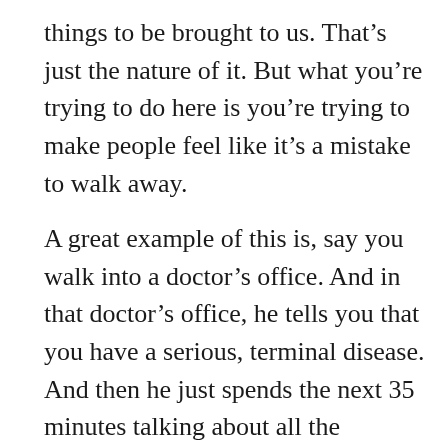things to be brought to us. That's just the nature of it. But what you're trying to do here is you're trying to make people feel like it's a mistake to walk away.
A great example of this is, say you walk into a doctor's office. And in that doctor's office, he tells you that you have a serious, terminal disease. And then he just spends the next 35 minutes talking about all the procedures that you have to go through, the treatments that you have to take, the rehab that you have to go through, if you want to sort of survive this disease. Well, most people would think…